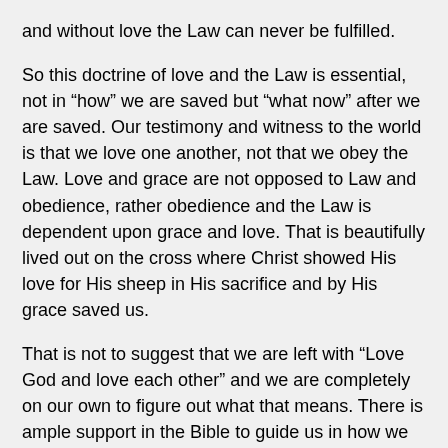and without love the Law can never be fulfilled.
So this doctrine of love and the Law is essential, not in “how” we are saved but “what now” after we are saved. Our testimony and witness to the world is that we love one another, not that we obey the Law. Love and grace are not opposed to Law and obedience, rather obedience and the Law is dependent upon grace and love. That is beautifully lived out on the cross where Christ showed His love for His sheep in His sacrifice and by His grace saved us.
That is not to suggest that we are left with “Love God and love each other” and we are completely on our own to figure out what that means. There is ample support in the Bible to guide us in how we should live among unbelievers, how we should live with one another, what the church is (and is not), how believers should support and serve one another. God is fully aware of how prone to wander into our own devices we are and has left a myriad of commands and examples to fence us in. That is not a heavy yoke upon us but a joyous expression of a saved heart. John perhaps states it best when he wrote: